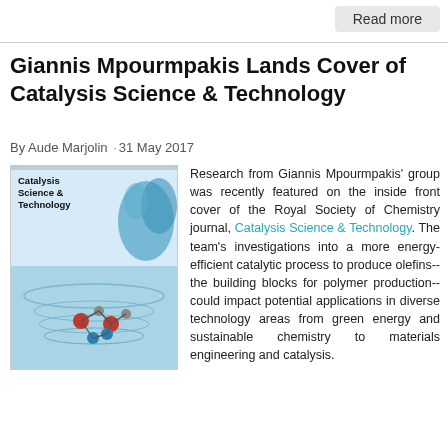Read more
Giannis Mpourmpakis Lands Cover of Catalysis Science & Technology
By Aude Marjolin ·31 May 2017
[Figure (photo): Cover of Catalysis Science & Technology journal showing molecular structures on a water background with the journal title text]
Research from Giannis Mpourmpakis' group was recently featured on the inside front cover of the Royal Society of Chemistry journal, Catalysis Science & Technology. The team's investigations into a more energy-efficient catalytic process to produce olefins--the building blocks for polymer production--could impact potential applications in diverse technology areas from green energy and sustainable chemistry to materials engineering and catalysis.